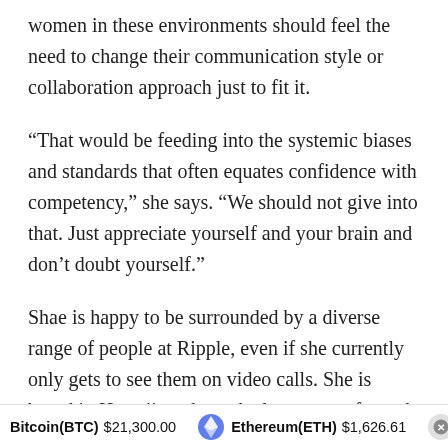women in these environments should feel the need to change their communication style or collaboration approach just to fit it.
“That would be feeding into the systemic biases and standards that often equates confidence with competency,” she says. “We should not give into that. Just appreciate yourself and your brain and don’t doubt yourself.”
Shae is happy to be surrounded by a diverse range of people at Ripple, even if she currently only gets to see them on video calls. She is based in Hawaii – where she loves to surf – and is looking forward to reuniting with her colleagues once the pandemic is over.
Bitcoin(BTC) $21,300.00   Ethereum(ETH) $1,626.61   XRP(X...